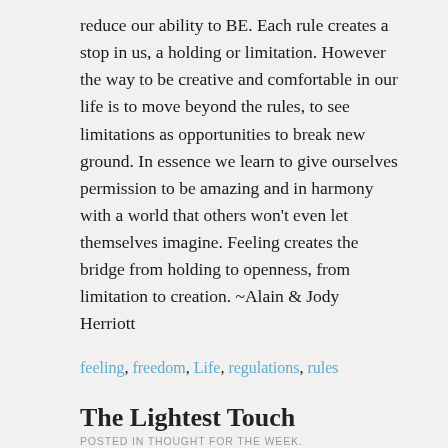reduce our ability to BE.  Each rule creates a stop in us, a holding or limitation.  However the way to be creative and comfortable in our life is to move beyond the rules, to see limitations as opportunities to break new ground.  In essence we learn to give ourselves permission to be amazing and in harmony with a world that others won't even let themselves imagine.  Feeling creates the bridge from holding to openness, from limitation to creation.  ~Alain & Jody Herriott
feeling, freedom, Life, regulations, rules
The Lightest Touch
POSTED IN THOUGHT FOR THE WEEK.
The lightest touch is accepting, it opens the firmest door.  Feeling is like that.  It shows us the closed doors of our past and through the most gentle acts helps